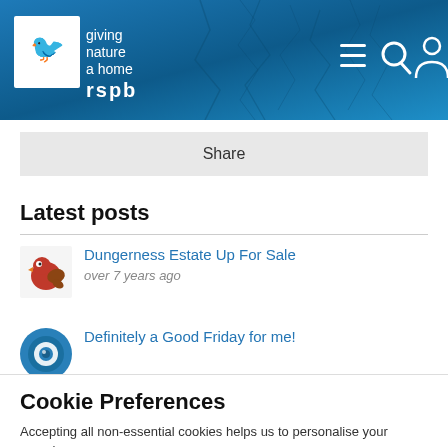[Figure (screenshot): RSPB website header with logo (bird silhouette, giving nature a home, rspb text) on blue cracked texture background, with hamburger menu, search, and user icons top right]
Share
Latest posts
[Figure (illustration): Small red/brown cartoon bird avatar icon]
Dungerness Estate Up For Sale
over 7 years ago
[Figure (illustration): Blue circular avatar icon with bird eye design]
Definitely a Good Friday for me!
Cookie Preferences
Accepting all non-essential cookies helps us to personalise your experience
EDIT SETTINGS
ACCEPT ALL